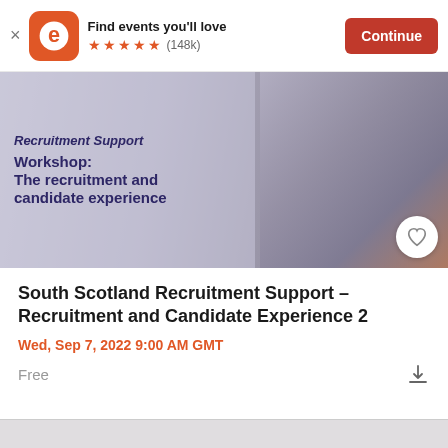Find events you'll love ★★★★★ (148k) Continue
[Figure (screenshot): Event banner image showing a workspace with laptop, coffee, earbuds and notebook. Overlaid bold text reads: Recruitment Support Workshop: The recruitment and candidate experience]
South Scotland Recruitment Support – Recruitment and Candidate Experience 2
Wed, Sep 7, 2022 9:00 AM GMT
Free